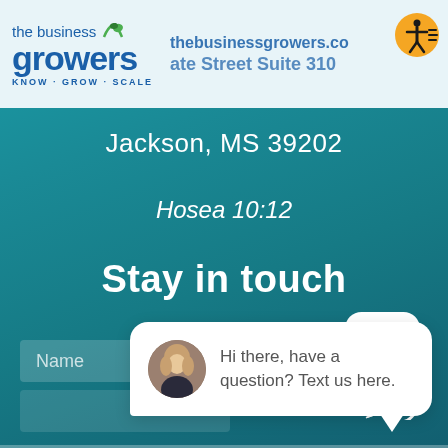[Figure (logo): The Business Growers logo with tagline KNOW·GROW·SCALE in blue on light background header]
thebusinessgrowers.co
ate Street Suite 310
Jackson, MS 39202
Hosea 10:12
Stay in touch
close
Name
Hi there, have a question? Text us here.